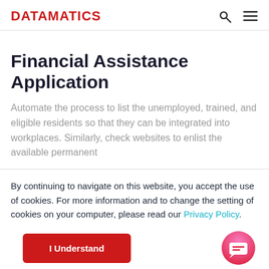DATAMATICS
Financial Assistance Application
Automate the process to list the unemployed, trained, and eligible residents so that they can be integrated into workplaces. Similarly, check websites to enlist the available permanent
By continuing to navigate on this website, you accept the use of cookies. For more information and to change the setting of cookies on your computer, please read our Privacy Policy.
I Understand